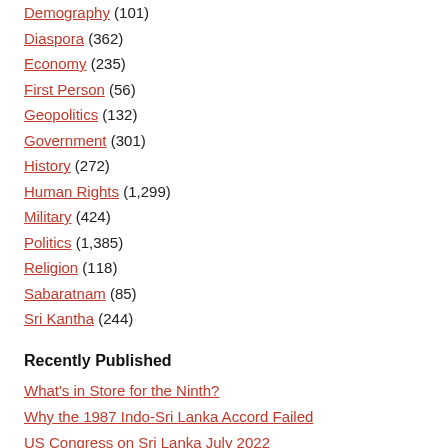Demography (101)
Diaspora (362)
Economy (235)
First Person (56)
Geopolitics (132)
Government (301)
History (272)
Human Rights (1,299)
Military (424)
Politics (1,385)
Religion (118)
Sabaratnam (85)
Sri Kantha (244)
Recently Published
What's in Store for the Ninth?
Why the 1987 Indo-Sri Lanka Accord Failed
US Congress on Sri Lanka July 2022
Black July
Asymmetric Warfare at Sea: The Case of Sri Lanka
Search